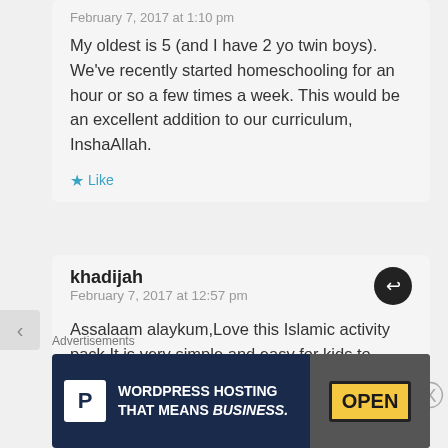February 7, 2017 at 1:10 pm
My oldest is 5 (and I have 2 yo twin boys). We've recently started homeschooling for an hour or so a few times a week. This would be an excellent addition to our curriculum, InshaAllah.
★ Like
khadijah
February 7, 2017 at 12:57 pm
Assalaam alaykum,Love this Islamic activity pack,It is very simple and easy for kids to learn.I use it for my kid and I look forward to
Advertisements
[Figure (infographic): Advertisement banner for WordPress Hosting — dark navy background, P logo in white box on left, text 'WORDPRESS HOSTING THAT MEANS BUSINESS.' in bold white, with an OPEN sign photo on the right.]